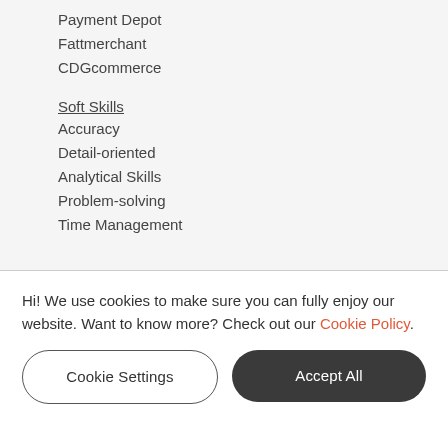Payment Depot
Fattmerchant
CDGcommerce
Soft Skills
Accuracy
Detail-oriented
Analytical Skills
Problem-solving
Time Management
Volunteering
09/2009 - 05/2013, Class Treasurer, Lycee Marseille...
Hi! We use cookies to make sure you can fully enjoy our website. Want to know more? Check out our Cookie Policy.
Cookie Settings
Accept All